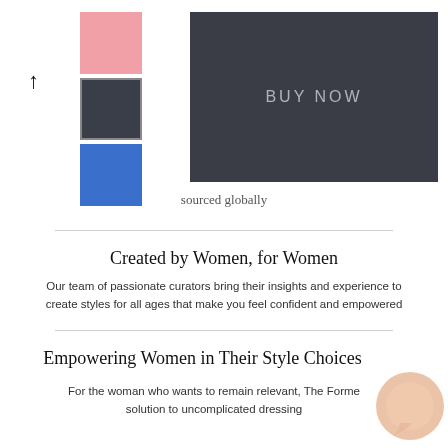[Figure (screenshot): Product page UI with color swatches (pink, dark navy, blue) on left, arrow/up icon, and dark gray BUY NOW button on right]
sourced globally
Created by Women, for Women
Our team of passionate curators bring their insights and experience to create styles for all ages that make you feel confident and empowered
Empowering Women in Their Style Choices
For the woman who wants to remain relevant, The Forme solution to uncomplicated dressing
[Figure (illustration): Peach/beige circular chat bubble icon in bottom right area]